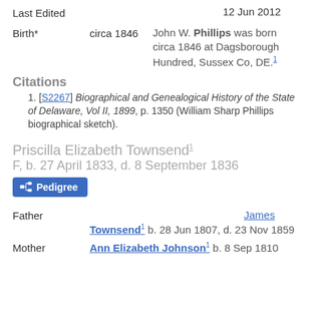Last Edited   12 Jun 2012
Birth*   circa 1846   John W. Phillips was born circa 1846 at Dagsborough Hundred, Sussex Co, DE.[1]
Citations
1. [S2267] Biographical and Genealogical History of the State of Delaware, Vol II, 1899, p. 1350 (William Sharp Phillips biographical sketch).
Priscilla Elizabeth Townsend[1] F, b. 27 April 1833, d. 8 September 1836
Pedigree
Father   James Townsend[1] b. 28 Jun 1807, d. 23 Nov 1859
Mother   Ann Elizabeth Johnson[1] b. 8 Sep 1810